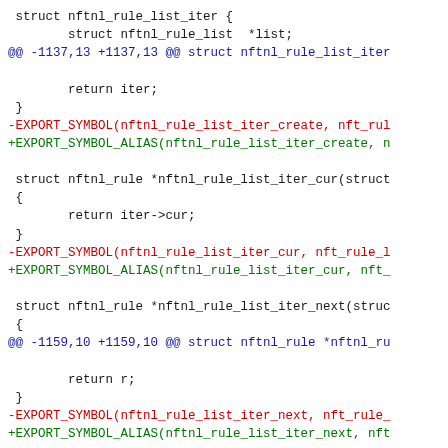[Figure (screenshot): A code diff showing changes to nftnl rule list iterator functions in C source code. Context lines are in dark/black, removed lines (-) in red, added lines (+) in green, and hunk headers (@@ ... @@) in blue.]